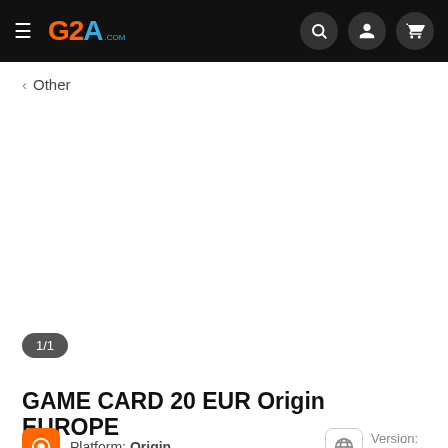G2A navigation bar with hamburger menu, G2A logo, search icon, user icon, cart icon
< Other
[Figure (other): Product image area (empty/loading) with 1/1 page indicator badge]
GAME CARD 20 EUR Origin EUROPE
Platform: Origin
Version: EUROPE